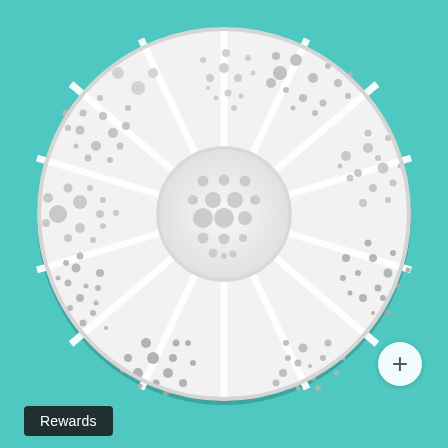[Figure (photo): A circular rhinestone nail art organizer wheel tray with white plastic dividers creating 12 outer segments and a small center compartment. The tray contains various sizes of clear/silver flat-back rhinestone crystals sorted by size in each segment, displayed against a teal/turquoise background.]
+
Rewards